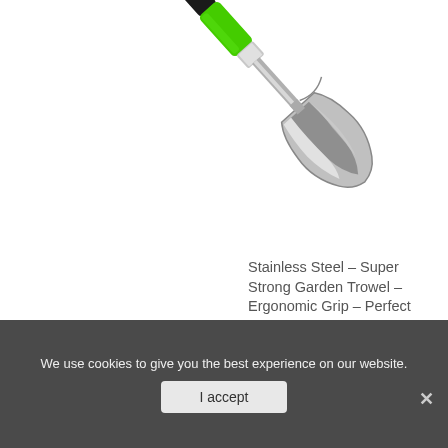[Figure (photo): A stainless steel garden trowel with a bright green and black ergonomic grip handle, shown diagonally with the pointed metal scoop at the bottom center and the handle extending to the upper right.]
Stainless Steel – Super Strong Garden Trowel – Ergonomic Grip – Perfect Hand Sh...
We use cookies to give you the best experience on our website.
I accept